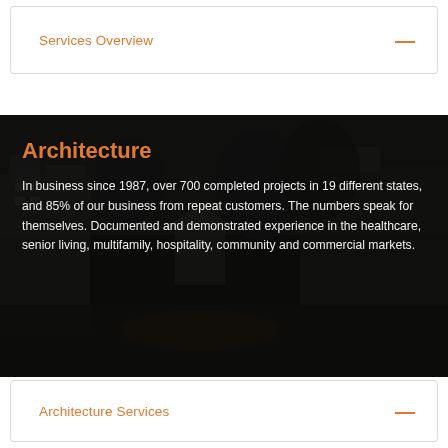Services Overview
[Figure (photo): Dark nighttime aerial/exterior photo of a multi-building complex with trees and landscaping, used as a background behind the Architecture section text]
Architecture
In business since 1987, over 700 completed projects in 19 different states, and 85% of our business from repeat customers. The numbers speak for themselves. Documented and demonstrated experience in the healthcare, senior living, multifamily, hospitality, community and commercial markets.
Architecture Services